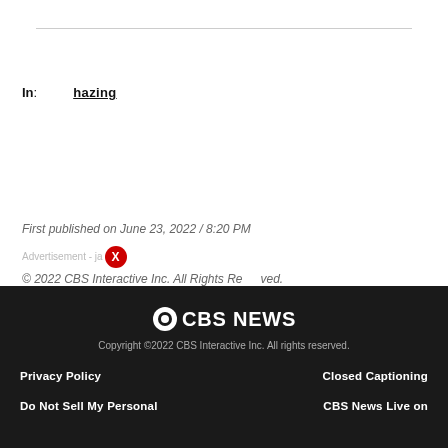In: hazing
First published on June 23, 2022 / 8:20 PM
© 2022 CBS Interactive Inc. All Rights Reserved.
CBS NEWS
Copyright ©2022 CBS Interactive Inc. All rights reserved.
Privacy Policy | Closed Captioning
Do Not Sell My Personal | CBS News Live on